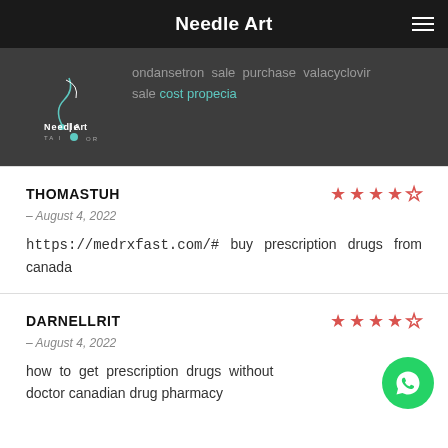Needle Art
ondansetron sale purchase valacyclovir sale cost propecia
THOMASTUH – August 4, 2022 https://medrxfast.com/# buy prescription drugs from canada
DARNELLRIT – August 4, 2022 how to get prescription drugs without doctor canadian drug pharmacy